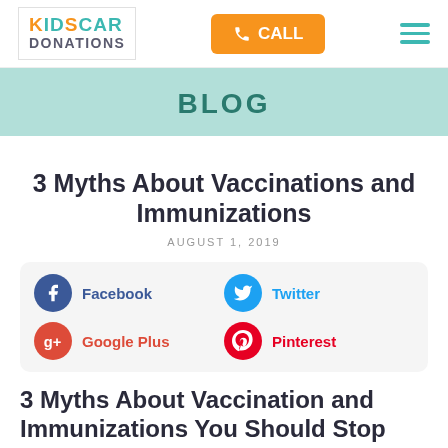KIDS CAR DONATIONS — CALL — Navigation
BLOG
3 Myths About Vaccinations and Immunizations
AUGUST 1, 2019
[Figure (infographic): Social sharing buttons: Facebook, Twitter, Google Plus, Pinterest]
3 Myths About Vaccination and Immunizations You Should Stop